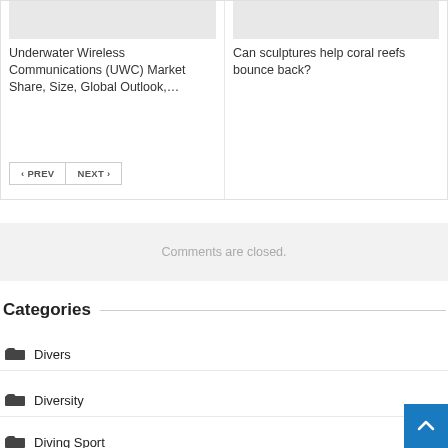[Figure (screenshot): Website article card showing two articles: 'Underwater Wireless Communications (UWC) Market Share, Size, Global Outlook,...' and 'Can sculptures help coral reefs bounce back?' with placeholder images above each title]
Underwater Wireless Communications (UWC) Market Share, Size, Global Outlook,...
Can sculptures help coral reefs bounce back?
< PREV
NEXT >
Comments are closed.
Categories
Divers
Diversity
Diving Sport